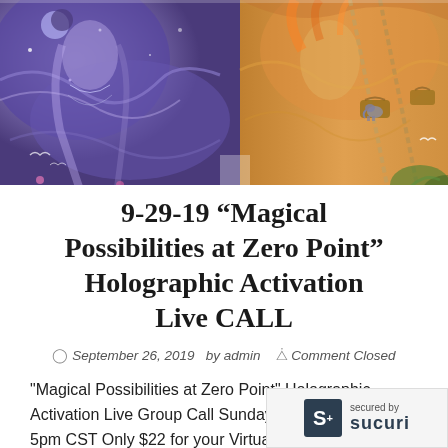[Figure (illustration): Fantastical spiritual artwork showing ethereal female figures with swirling blue and purple tones on the left, and warm orange/golden tones with a tropical scene including elephants and hanging baskets on the right.]
9-29-19 “Magical Possibilities at Zero Point” Holographic Activation Live CALL
September 26, 2019   by admin     Comment Closed
"Magical Possibilities at Zero Point" Holographic Activation Live Group Call Sunday, September 29th 5pm CST Only $22 for your Virtual Ticket! CLICK H… YOUR LIVE CALL + REPLAY ACCESS Replay…